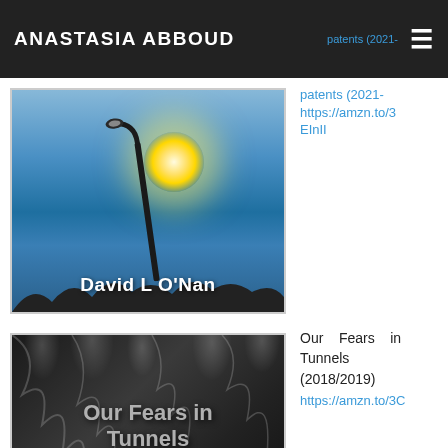ANASTASIA ABBOUD
[Figure (photo): Book cover photo: street lamp against bright blue sky with sun glare, author name 'David L O'Nan' displayed on cover]
https://amzn.to/3EInII
[Figure (photo): Book cover: dark/grey background with tree texture overlay, title text 'Our Fears in Tunnels' in bold grey letters]
Our Fears in Tunnels (2018/2019)
https://amzn.to/3C